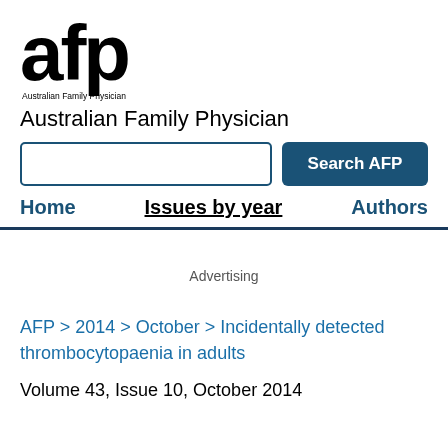[Figure (logo): AFP (Australian Family Physician) journal logo with large bold 'afp' text and subtitle 'Australian Family Physician']
Australian Family Physician
Search AFP
Home   Issues by year   Authors
Advertising
AFP > 2014 > October > Incidentally detected thrombocytopaenia in adults
Volume 43, Issue 10, October 2014